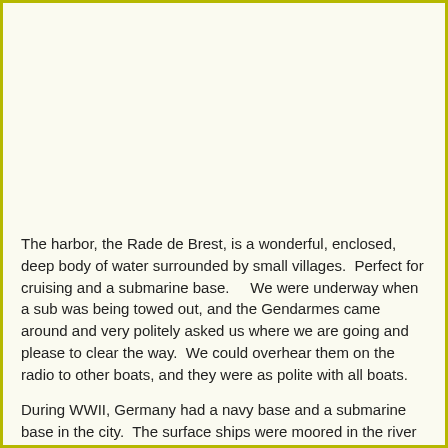The harbor, the Rade de Brest, is a wonderful, enclosed, deep body of water surrounded by small villages.  Perfect for cruising and a submarine base.    We were underway when a sub was being towed out, and the Gendarmes came around and very politely asked us where we are going and please to clear the way.  We could overhear them on the radio to other boats, and they were as polite with all boats.
During WWII, Germany had a navy base and a submarine base in the city.  The surface ships were moored in the river and this section of town was completely destroyed by allied bombing.